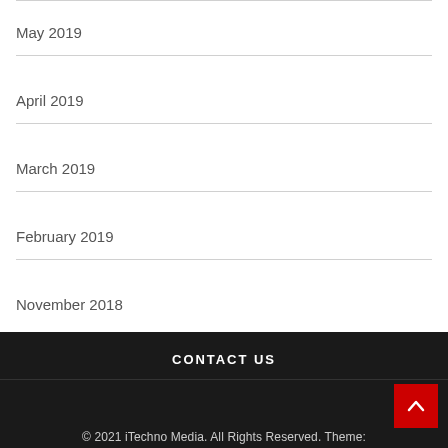May 2019
April 2019
March 2019
February 2019
November 2018
CONTACT US
© 2021 iTechno Media. All Rights Reserved. Theme: